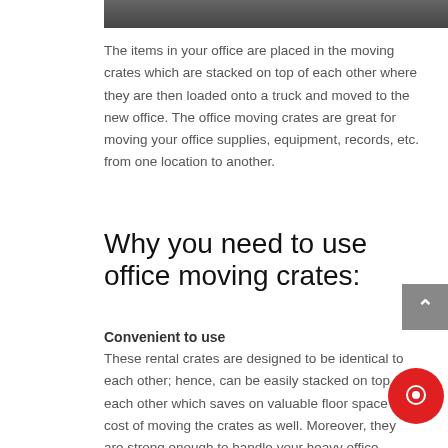[Figure (photo): Partial photo strip at top of page showing a dark scene, cropped at top]
The items in your office are placed in the moving crates which are stacked on top of each other where they are then loaded onto a truck and moved to the new office. The office moving crates are great for moving your office supplies, equipment, records, etc. from one location to another.
Why you need to use office moving crates:
Convenient to use
These rental crates are designed to be identical to each other; hence, can be easily stacked on top of each other which saves on valuable floor space and cost of moving the crates as well. Moreover, they are strong enough to handle your heavy office records to their commercial grade plastic construction.